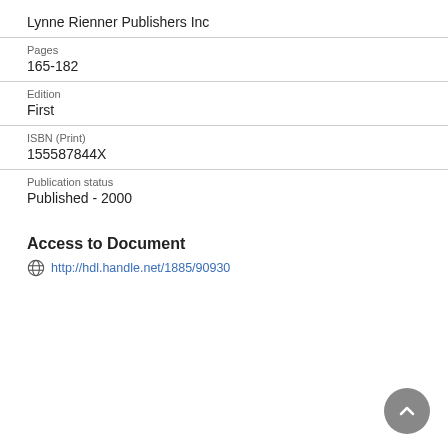Lynne Rienner Publishers Inc
Pages
165-182
Edition
First
ISBN (Print)
155587844X
Publication status
Published - 2000
Access to Document
http://hdl.handle.net/1885/90930